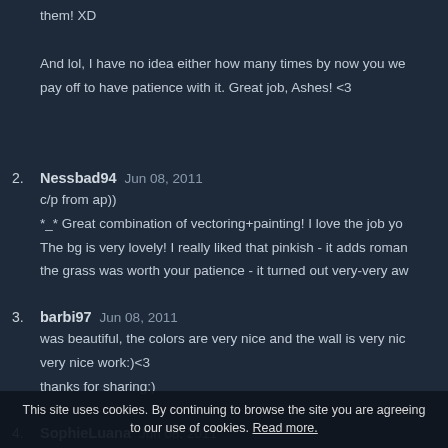them! XD

And lol, I have no idea either how many times by now you we pay off to have patience with it. Great job, Ashes! <3
2. Nessbad94 Jun 08, 2011
c/p from ap))
*_* Great combination of vectoring+painting! I love the job yo
The bg is very lovely! I really liked that pinkish - it adds roman
the grass was worth your patience - it turned out very-very aw
3. barbi97 Jun 08, 2011
was beautiful, the colors are very nice and the wall is very nic
very nice work:)<3
thanks for sharing:)
4. SophieLuana Jun 08, 2011
Thank you for the wallpaper, it's beautiful ^O^
I love the colo
This site uses cookies. By continuing to browse the site you are agreeing to our use of cookies. Read more.